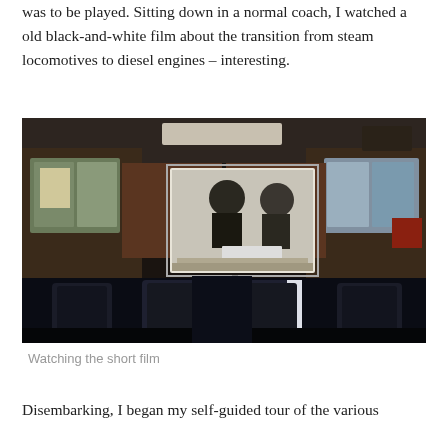was to be played. Sitting down in a normal coach, I watched a old black-and-white film about the transition from steam locomotives to diesel engines – interesting.
[Figure (photo): Interior of a train coach with rows of blue seats visible, and a projection screen at the front showing a black-and-white film of two uniformed figures looking at a document. The train windows are visible on both sides.]
Watching the short film
Disembarking, I began my self-guided tour of the various